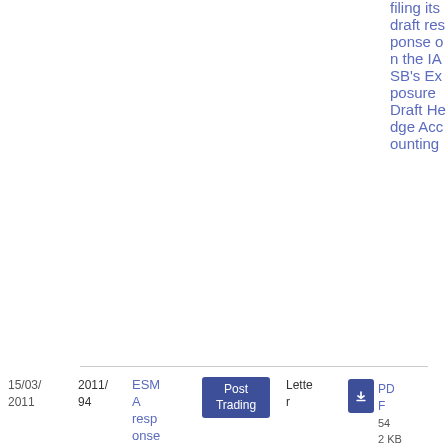filing its draft response on the IASB's Exposure Draft Hedge Accounting
| Date | Ref | Author | Topic | Type | File |
| --- | --- | --- | --- | --- | --- |
| 15/03/2011 | 2011/94 | ESMA response | Post Trading | Letter | PDF 54 2 KB |